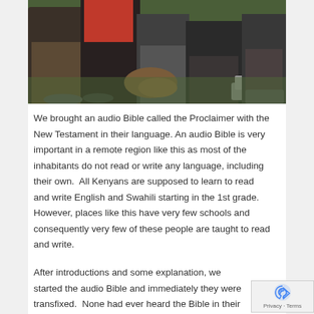[Figure (photo): Group of people sitting outdoors on grass, partial view of legs, feet and hands; one person appears to be speaking or gesturing]
We brought an audio Bible called the Proclaimer with the New Testament in their language. An audio Bible is very important in a remote region like this as most of the inhabitants do not read or write any language, including their own.  All Kenyans are supposed to learn to read and write English and Swahili starting in the 1st grade.  However, places like this have very few schools and consequently very few of these people are taught to read and write.
After introductions and some explanation, we started the audio Bible and immediately they were transfixed.  None had ever heard the Bible in their own language.